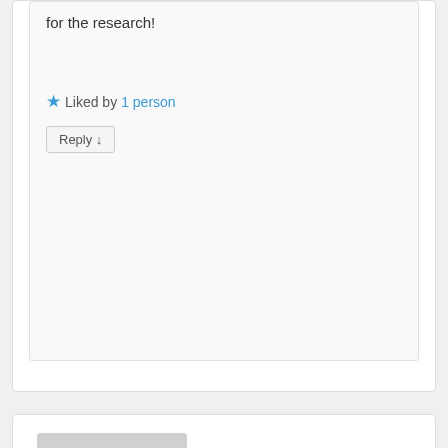for the research!
★ Liked by 1 person
Reply ↓
Barbara Gruener on April 1, 2016 at 4:21 pm said:
Oh, Vivian, I simply must get a copy of this book. So many people try to shorten my name from Barbara to Barb, so I totally connect with what she's experiencing. Thanks for this title!
★ Liked by 1 person